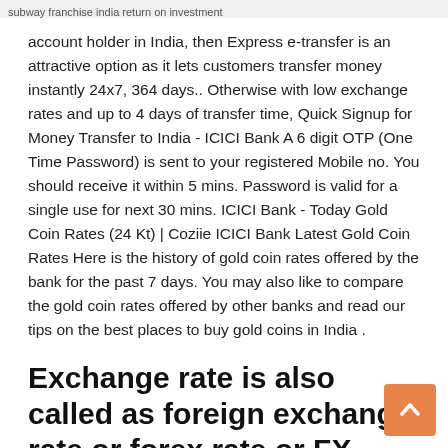subway franchise india return on investment
account holder in India, then Express e-transfer is an attractive option as it lets customers transfer money instantly 24x7, 364 days.. Otherwise with low exchange rates and up to 4 days of transfer time, Quick Signup for Money Transfer to India - ICICI Bank A 6 digit OTP (One Time Password) is sent to your registered Mobile no. You should receive it within 5 mins. Password is valid for a single use for next 30 mins. ICICI Bank - Today Gold Coin Rates (24 Kt) | Coziie ICICI Bank Latest Gold Coin Rates Here is the history of gold coin rates offered by the bank for the past 7 days. You may also like to compare the gold coin rates offered by other banks and read our tips on the best places to buy gold coins in India .
Exchange rate is also called as foreign exchange rate or forex rate or FX rate. ICICI Bank offers the